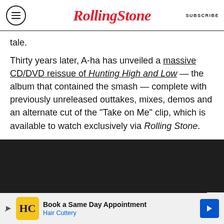RollingStone | SUBSCRIBE
tale.
Thirty years later, A-ha has unveiled a massive CD/DVD reissue of Hunting High and Low — the album that contained the smash — complete with previously unreleased outtakes, mixes, demos and an alternate cut of the “Take on Me” clip, which is available to watch exclusively via Rolling Stone.
[Figure (screenshot): Dark video embed area with a close X button in the bottom right corner]
[Figure (infographic): Advertisement banner: Book a Same Day Appointment - Hair Cuttery, with yellow HC logo and blue arrow button]